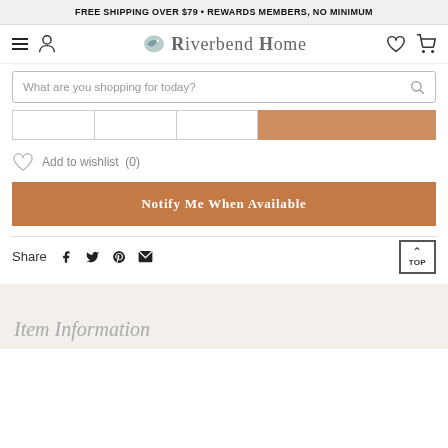FREE SHIPPING OVER $79 • REWARDS MEMBERS, NO MINIMUM
[Figure (screenshot): Riverbend Home navigation bar with hamburger menu, user icon, logo, heart/wishlist icon, and cart icon]
What are you shopping for today?
[Figure (screenshot): Add to cart button row (partially visible) with quantity selectors and orange Add to Cart button]
Add to wishlist  (0)
Notify Me When Available
Share
[Figure (screenshot): Social share icons: Facebook, Twitter, Pinterest, Email; TOP back-to-top button]
Item Information